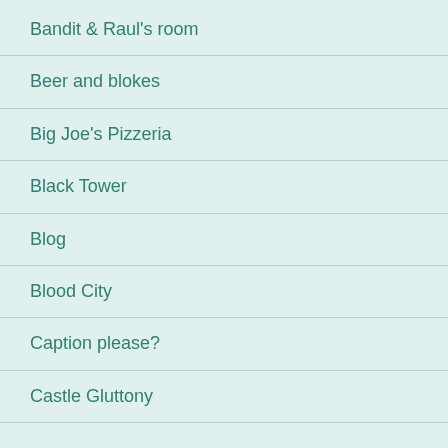Bandit & Raul's room
Beer and blokes
Big Joe's Pizzeria
Black Tower
Blog
Blood City
Caption please?
Castle Gluttony